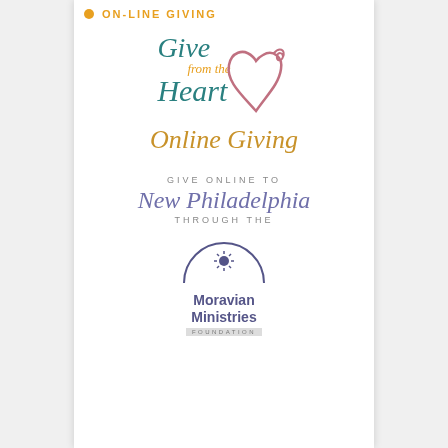ON-LINE GIVING
[Figure (logo): Give from the Heart Online Giving logo with teal script text and rose-pink heart outline]
[Figure (logo): Give Online to New Philadelphia through the Moravian Ministries Foundation logo]